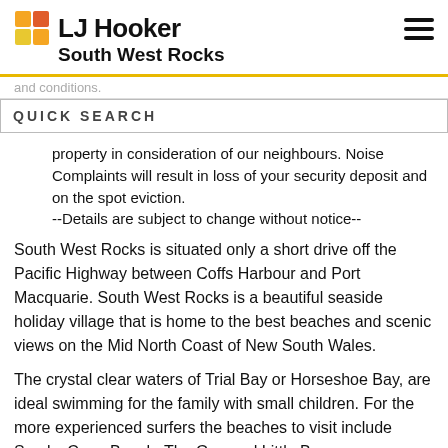LJ Hooker South West Rocks
and conditions.
QUICK SEARCH
property in consideration of our neighbours. Noise Complaints will result in loss of your security deposit and on the spot eviction.
--Details are subject to change without notice--
South West Rocks is situated only a short drive off the Pacific Highway between Coffs Harbour and Port Macquarie. South West Rocks is a beautiful seaside holiday village that is home to the best beaches and scenic views on the Mid North Coast of New South Wales.
The crystal clear waters of Trial Bay or Horseshoe Bay, are ideal swimming for the family with small children. For the more experienced surfers the beaches to visit include Smoky Cape Beach, The Gap and Little Bay.